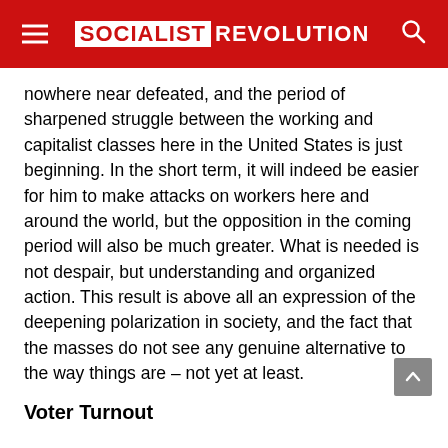SOCIALIST REVOLUTION
nowhere near defeated, and the period of sharpened struggle between the working and capitalist classes here in the United States is just beginning. In the short term, it will indeed be easier for him to make attacks on workers here and around the world, but the opposition in the coming period will also be much greater. What is needed is not despair, but understanding and organized action. This result is above all an expression of the deepening polarization in society, and the fact that the masses do not see any genuine alternative to the way things are – not yet at least.
Voter Turnout